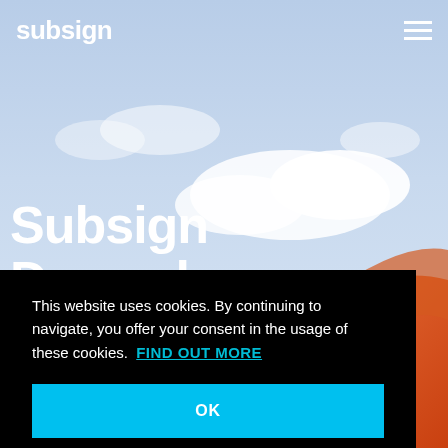[Figure (photo): Hero background photo showing a cloudy blue sky with an orange tent or inflatable structure visible in the lower right corner]
subsign [hamburger menu icon]
Subsign December
This website uses cookies. By continuing to navigate, you offer your consent in the usage of these cookies. FIND OUT MORE
OK